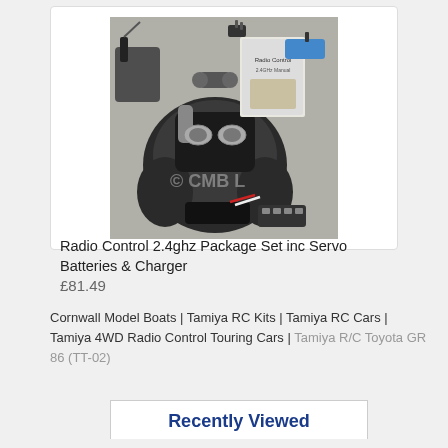[Figure (photo): Radio control 2.4ghz package set product photo showing transmitter controller, batteries, charger, servo and accessories on grey background with CMB watermark]
Radio Control 2.4ghz Package Set inc Servo Batteries & Charger
£81.49
Cornwall Model Boats | Tamiya RC Kits | Tamiya RC Cars | Tamiya 4WD Radio Control Touring Cars | Tamiya R/C Toyota GR 86 (TT-02)
Recently Viewed